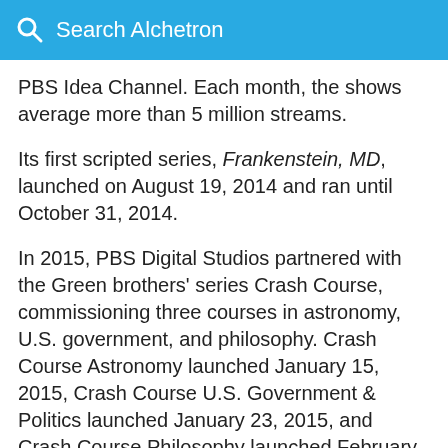Search Alchetron
PBS Idea Channel. Each month, the shows average more than 5 million streams.
Its first scripted series, Frankenstein, MD, launched on August 19, 2014 and ran until October 31, 2014.
In 2015, PBS Digital Studios partnered with the Green brothers' series Crash Course, commissioning three courses in astronomy, U.S. government, and philosophy. Crash Course Astronomy launched January 15, 2015, Crash Course U.S. Government & Politics launched January 23, 2015, and Crash Course Philosophy launched February 8, 2016.
Covid-19